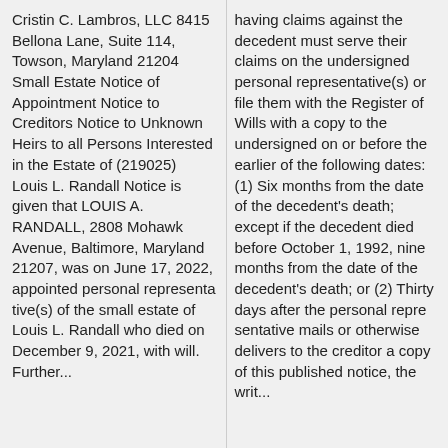Cristin C. Lambros, LLC 8415 Bellona Lane, Suite 114, Towson, Maryland 21204 Small Estate Notice of Appointment Notice to Creditors Notice to Unknown Heirs to all Persons Interested in the Estate of (219025) Louis L. Randall Notice is given that LOUIS A. RANDALL, 2808 Mohawk Avenue, Baltimore, Maryland 21207, was on June 17, 2022, appointed personal representative(s) of the small estate of Louis L. Randall who died on December 9, 2021, with will. Further...
having claims against the decedent must serve their claims on the undersigned personal representative(s) or file them with the Register of Wills with a copy to the undersigned on or before the earlier of the following dates: (1) Six months from the date of the decedent's death; except if the decedent died before October 1, 1992, nine months from the date of the decedent's death; or (2) Thirty days after the personal representative mails or otherwise delivers to the creditor a copy of this published notice, the written...